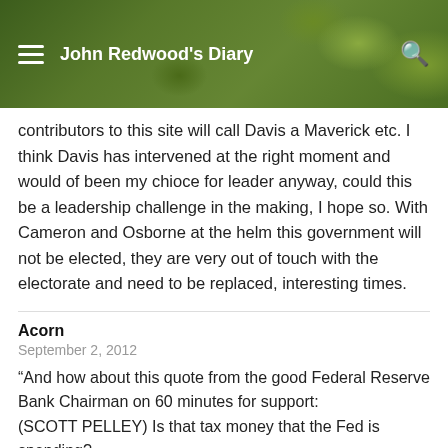John Redwood's Diary
contributors to this site will call Davis a Maverick etc. I think Davis has intervened at the right moment and would of been my chioce for leader anyway, could this be a leadership challenge in the making, I hope so. With Cameron and Osborne at the helm this government will not be elected, they are very out of touch with the electorate and need to be replaced, interesting times.
Acorn
September 2, 2012
“And how about this quote from the good Federal Reserve Bank Chairman on 60 minutes for support:
(SCOTT PELLEY) Is that tax money that the Fed is spending?